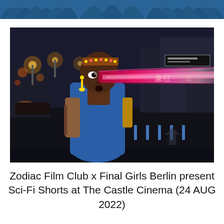[Figure (photo): A Black woman in a blue sleeveless top and beaded headband stands on a dark city street at night, looking surprised as a glowing pink/magenta energy beam or light streaks horizontally across her face. City lights and street signs are visible in the background.]
Zodiac Film Club x Final Girls Berlin present Sci-Fi Shorts at The Castle Cinema (24 AUG 2022)